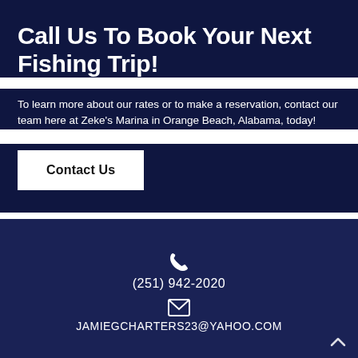Call Us To Book Your Next Fishing Trip!
To learn more about our rates or to make a reservation, contact our team here at Zeke's Marina in Orange Beach, Alabama, today!
Contact Us
(251) 942-2020
JAMIEGCHARTERS23@YAHOO.COM